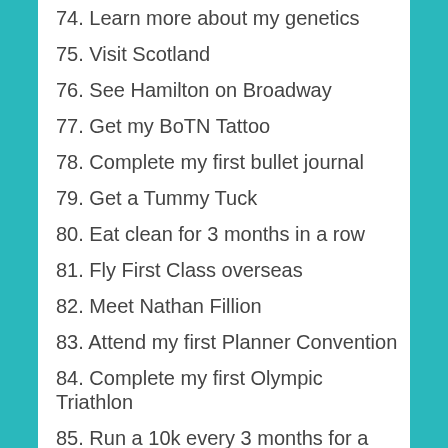74. Learn more about my genetics
75. Visit Scotland
76. See Hamilton on Broadway
77. Get my BoTN Tattoo
78. Complete my first bullet journal
79. Get a Tummy Tuck
80. Eat clean for 3 months in a row
81. Fly First Class overseas
82. Meet Nathan Fillion
83. Attend my first Planner Convention
84. Complete my first Olympic Triathlon
85. Run a 10k every 3 months for a year
86. Build a Gingerbread House